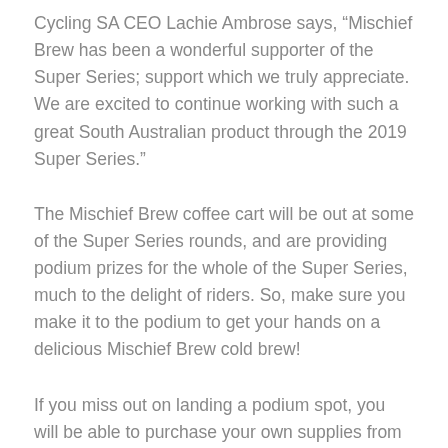Cycling SA CEO Lachie Ambrose says, “Mischief Brew has been a wonderful supporter of the Super Series; support which we truly appreciate. We are excited to continue working with such a great South Australian product through the 2019 Super Series.”
The Mischief Brew coffee cart will be out at some of the Super Series rounds, and are providing podium prizes for the whole of the Super Series, much to the delight of riders. So, make sure you make it to the podium to get your hands on a delicious Mischief Brew cold brew!
If you miss out on landing a podium spot, you will be able to purchase your own supplies from one of their